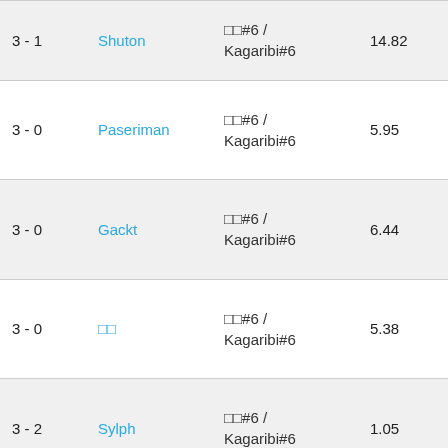| Score | Player | Match | Value | Date |
| --- | --- | --- | --- | --- |
| 3 - 1 | Shuton | □□#6 / Kagaribi#6 | 14.82 | 2022, 8:11 a.m. |
| 3 - 0 | Paseriman | □□#6 / Kagaribi#6 | 5.95 | Jan. 9 2022, 7:46 a.m. |
| 3 - 0 | Gackt | □□#6 / Kagaribi#6 | 6.44 | Jan. 9 2022, 7:32 a.m. |
| 3 - 0 | □□ | □□#6 / Kagaribi#6 | 5.38 | Jan. 9 2022, 6:37 a.m. |
| 3 - 2 | Sylph | □□#6 / Kagaribi#6 | 1.05 | Jan. 9 2022, 6:08 a.m. |